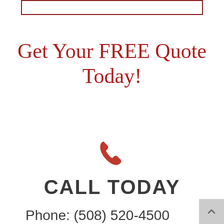[Figure (other): Dark red rectangular border box at the top of the page]
Get Your FREE Quote Today!
[Figure (other): Red telephone/phone handset icon]
CALL TODAY
Phone: (508) 520-4500